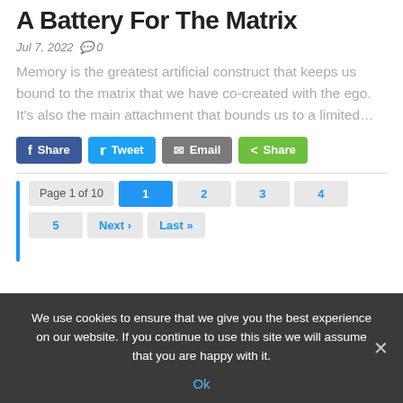A Battery For The Matrix
Jul 7, 2022  ⎙ 0
Memory is the greatest artificial construct that keeps us bound to the matrix that we have co-created with the ego. It’s also the main attachment that bounds us to a limited…
[Figure (infographic): Social share buttons: Share (Facebook), Tweet (Twitter), Email, Share (green)]
Page 1 of 10  1  2  3  4  5  Next ›  Last »
We use cookies to ensure that we give you the best experience on our website. If you continue to use this site we will assume that you are happy with it.
Ok